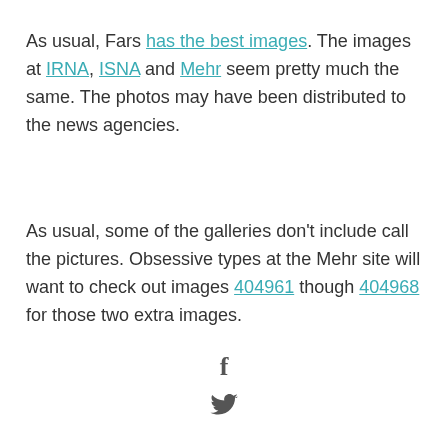As usual, Fars has the best images. The images at IRNA, ISNA and Mehr seem pretty much the same. The photos may have been distributed to the news agencies.
As usual, some of the galleries don't include call the pictures. Obsessive types at the Mehr site will want to check out images 404961 though 404968 for those two extra images.
[Figure (other): Social media share icons: Facebook (f) and Twitter bird icon]